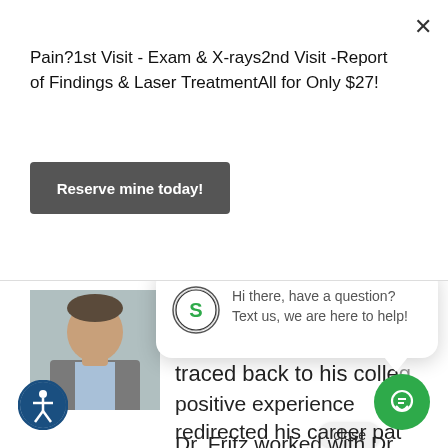Pain?1st Visit - Exam & X-rays2nd Visit -Report of Findings & Laser TreatmentAll for Only $27!
Reserve mine today!
[Figure (photo): Partial photo of a man in a grey suit and light blue shirt]
and passion about chiropractic care can be traced back to his colleğ
close
[Figure (logo): Select Health & Wellness circular logo with green S]
Hi there, have a question? Text us, we are here to help!
positive experience redirected his career pat
Dr. Fritz worked with Dr.
[Figure (illustration): Accessibility icon — person figure in circle, dark blue]
[Figure (illustration): Green circular chat/message button]